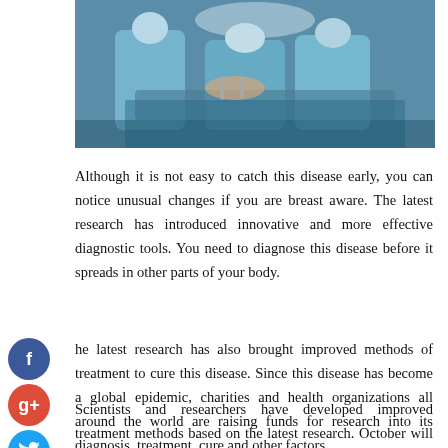[Figure (photo): Medical/surgical team in blue scrubs performing an operation, viewed from above]
Although it is not easy to catch this disease early, you can notice unusual changes if you are breast aware. The latest research has introduced innovative and more effective diagnostic tools. You need to diagnose this disease before it spreads in other parts of your body.
The latest research has also brought improved methods of treatment to cure this disease. Since this disease has become a global epidemic, charities and health organizations all around the world are raising funds for research into its diagnosis, treatment, cure and other factors.
Scientists and researchers have developed improved treatment methods based on the latest research. October will be observed as breast cancer awareness month with events being held across the